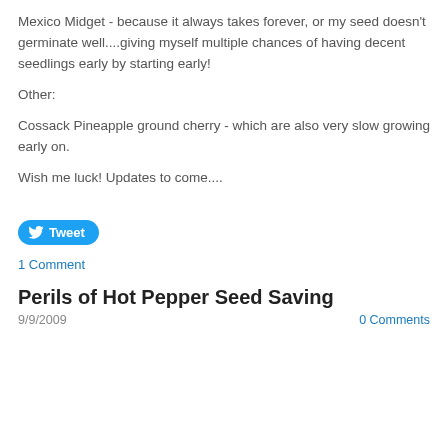Mexico Midget - because it always takes forever, or my seed doesn't germinate well....giving myself multiple chances of having decent seedlings early by starting early!
Other:
Cossack Pineapple ground cherry - which are also very slow growing early on.
Wish me luck! Updates to come....
[Figure (other): Twitter Tweet button]
1 Comment
Perils of Hot Pepper Seed Saving
9/9/2009  0 Comments